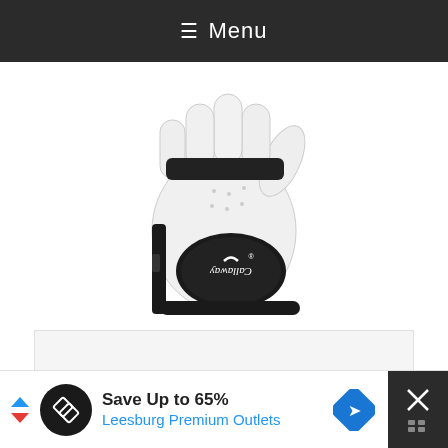≡ Menu
[Figure (photo): A Callaway golf glove shown palm-side up, white leather with black mesh accents and a black Callaway logo badge on the wrist area.]
[Figure (other): A light gray empty advertisement placeholder box.]
Save Up to 65%
Leesburg Premium Outlets